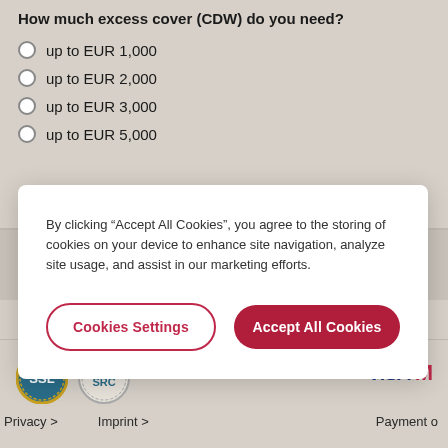How much excess cover (CDW) do you need?
up to EUR 1,000
up to EUR 2,000
up to EUR 3,000
up to EUR 5,000
By clicking “Accept All Cookies”, you agree to the storing of cookies on your device to enhance site navigation, analyze site usage, and assist in our marketing efforts.
Cookies Settings
Accept All Cookies
Privacy >   Imprint >   Payment o